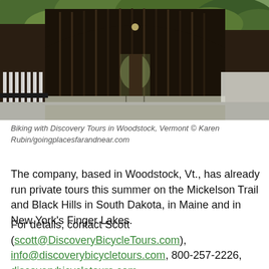[Figure (photo): A covered wooden bridge in Woodstock, Vermont, viewed from the front entrance. Trees visible in the background, white fence on the left, concrete barrier on the right.]
Biking with Discovery Tours in Woodstock, Vermont © Karen Rubin/goingplacesfarandnear.com
The company, based in Woodstock, Vt., has already run private tours this summer on the Mickelson Trail and Black Hills in South Dakota, in Maine and in New York's Finger Lakes.
For details, contact Scott (scott@DiscoveryBicycleTours.com), info@discoverybicycletours.com, 800-257-2226, discoverybicycletours.com.